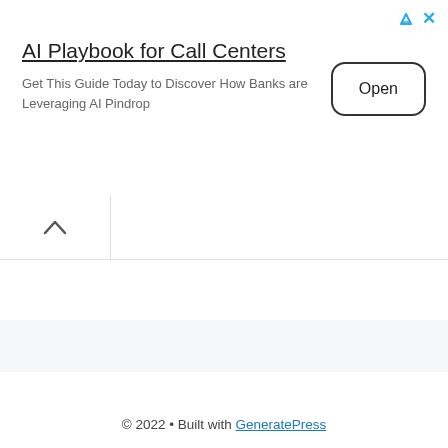[Figure (screenshot): Advertisement banner for AI Playbook for Call Centers with an Open button]
AI Playbook for Call Centers
Get This Guide Today to Discover How Banks are Leveraging AI Pindrop
Open
[Figure (screenshot): Collapsed tab with caret/chevron up icon]
© 2022 • Built with GeneratePress